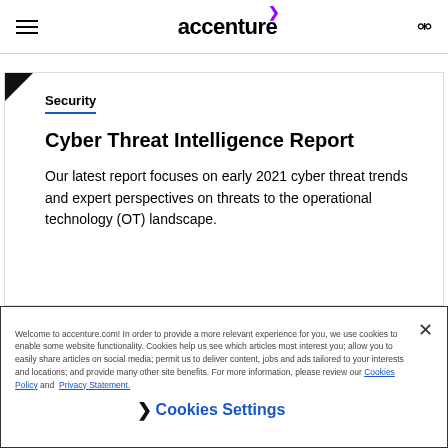accenture
Security
Cyber Threat Intelligence Report
Our latest report focuses on early 2021 cyber threat trends and expert perspectives on threats to the operational technology (OT) landscape.
Welcome to accenture.com! In order to provide a more relevant experience for you, we use cookies to enable some website functionality. Cookies help us see which articles most interest you; allow you to easily share articles on social media; permit us to deliver content, jobs and ads tailored to your interests and locations; and provide many other site benefits. For more information, please review our Cookies Policy and Privacy Statement.
Cookies Settings